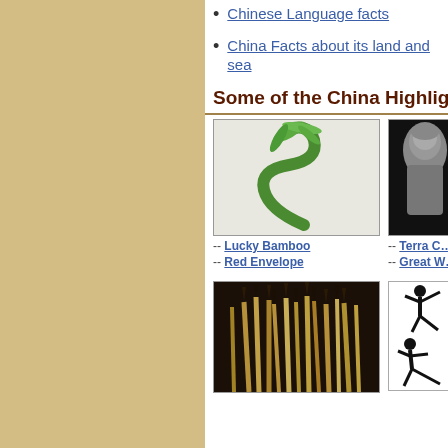Chinese Language facts
China Facts about its land and sea
Some of the China Highlights
[Figure (photo): Lucky bamboo plant twisted in S-shape with green leaves on top, on white background]
[Figure (photo): Terracotta warrior statue, partial view, dark background]
-- Lucky Bamboo
-- Red Envelope
-- Terra C...
-- Great W...
[Figure (photo): Chinese calligraphy brushes with pointed tips, close-up view]
[Figure (illustration): Silhouette of martial arts figures in kicking poses]